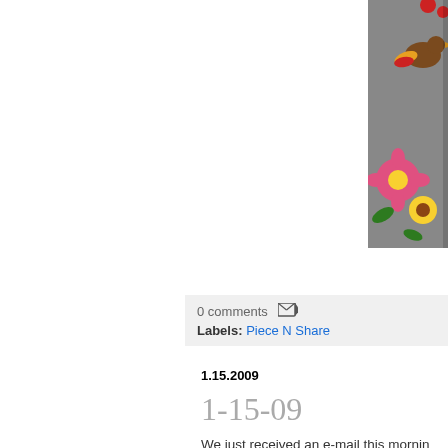[Figure (photo): Colorful embroidered or painted fabric artwork showing flowers and a bird on grey background, partially visible on right side]
0 comments [email icon]
Labels: Piece N Share
1.15.2009
1-15-09
We just received an e-mail this mornin